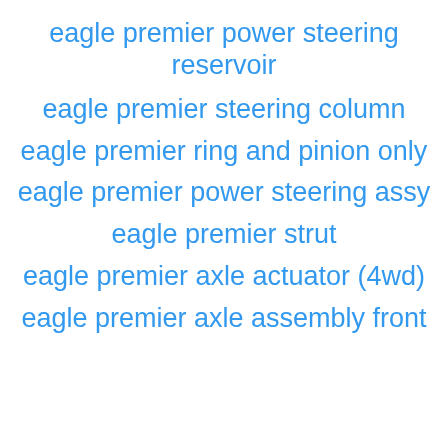eagle premier power steering reservoir
eagle premier steering column
eagle premier ring and pinion only
eagle premier power steering assy
eagle premier strut
eagle premier axle actuator (4wd)
eagle premier axle assembly front